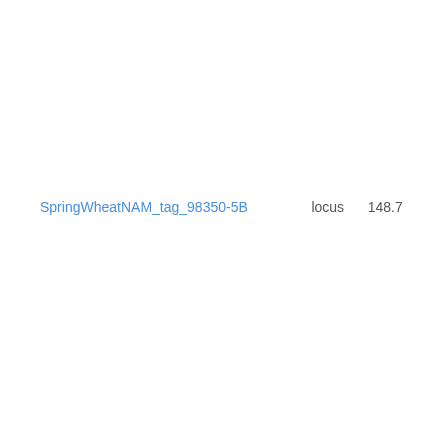BxCltr7635_5B
Wheat ABD - Wheat NAM5-Berkut-x-PI38 - Wheat-2018-NAM5-BxPI382150_5B
SpringWheatNAM_tag_98350-5B    locus    148.7
Wheat ABD - Wheat NAM8-Berkut-x-PBW - Wheat-2018-NAM8-BxPBW343_5B
Wheat ABD - Wheat NAM2-Berkut-x-PI57 - Wheat-2018-NAM2-BxPI572692_5B
Wheat ABD - Wheat NAM30-Berkut-x-PI278297 - Wheat-2018-NAM30-BxPI278297
Wheat ABD - Wheat NAM15-Berkut-x-Cltr - Wheat-2018-NAM15-BxCltr7635_5B
Wheat ABD - Wheat NAM2-Berkut-x-PI57 - Wheat-2018-NAM2-BxPI572692_5B
Wheat ABD - Wheat